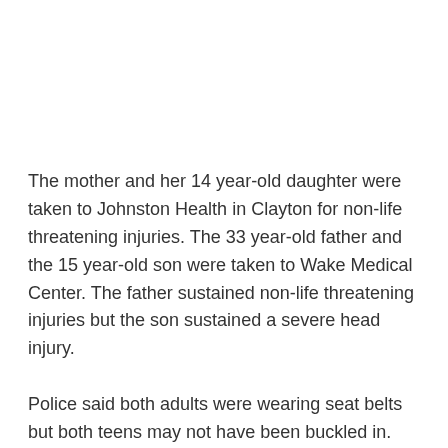The mother and her 14 year-old daughter were taken to Johnston Health in Clayton for non-life threatening injuries. The 33 year-old father and the 15 year-old son were taken to Wake Medical Center. The father sustained non-life threatening injuries but the son sustained a severe head injury.
Police said both adults were wearing seat belts but both teens may not have been buckled in.